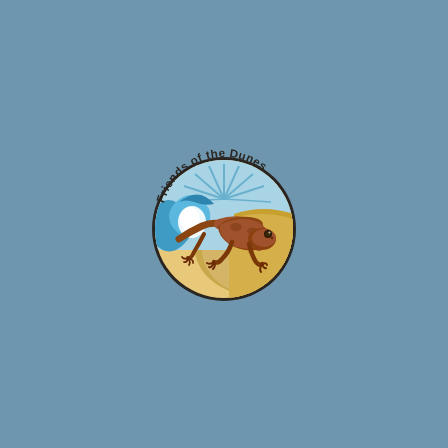[Figure (logo): Friends of the Dunes circular logo featuring a brown salamander/newt crawling across a scene with a blue ocean wave on the left and sandy dune on the right, with radiating sunburst rays at the top. The text 'Friends of the Dunes' arcs along the top of the circle.]